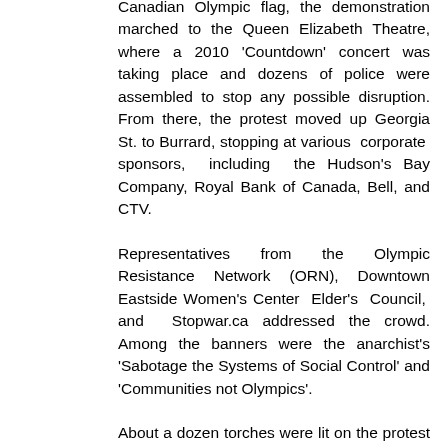Canadian Olympic flag, the demonstration marched to the Queen Elizabeth Theatre, where a 2010 'Countdown' concert was taking place and dozens of police were assembled to stop any possible disruption. From there, the protest moved up Georgia St. to Burrard, stopping at various corporate sponsors, including the Hudson's Bay Company, Royal Bank of Canada, Bell, and CTV.
Representatives from the Olympic Resistance Network (ORN), Downtown Eastside Women's Center Elder's Council, and Stopwar.ca addressed the crowd. Among the banners were the anarchist's 'Sabotage the Systems of Social Control' and 'Communities not Olympics'.
About a dozen torches were lit on the protest route, which ended at the 'Countdown Clock' located at the Art Gallery. Several targets were hit with paint bombs, including the clock as the rally ended. There were no arrests.